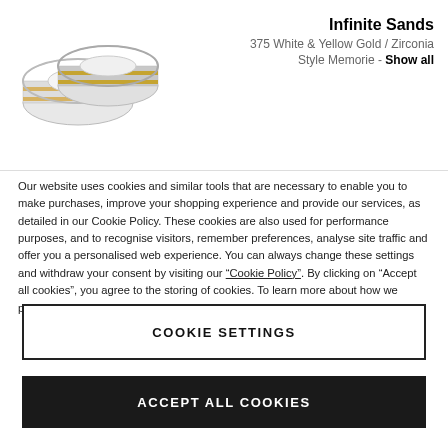[Figure (photo): Two wedding rings - white and yellow gold bands side by side]
Infinite Sands
375 White & Yellow Gold / Zirconia
Style Memorie - Show all
Our website uses cookies and similar tools that are necessary to enable you to make purchases, improve your shopping experience and provide our services, as detailed in our Cookie Policy. These cookies are also used for performance purposes, and to recognise visitors, remember preferences, analyse site traffic and offer you a personalised web experience. You can always change these settings and withdraw your consent by visiting our “Cookie Policy”. By clicking on “Accept all cookies”, you agree to the storing of cookies. To learn more about how we process your data, please consult our Privacy Policy.
COOKIE SETTINGS
ACCEPT ALL COOKIES